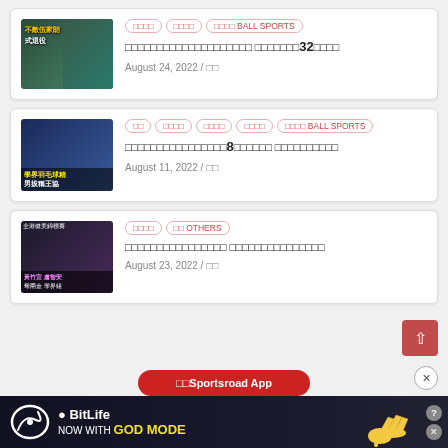[Figure (screenshot): Sports news card 1: thumbnail of badminton player with Chinese text overlay '不敵伍家朗 式退役', tags including BALL SPORTS, headline with 32, date August 24 2022]
August 24, 2022 / [author]
[Figure (screenshot): Sports news card 2: badminton match photo with text '學界羽毛球精 男拔稱王協', tags including BALL SPORTS, headline with 8, date August 11 2022]
August 11, 2022 / [author]
[Figure (screenshot): Sports news card 3: bodybuilding competition photo with text '全港健美錦標賽 黃竹宜 盧智安 奪兩金 學界組', tags including OTHERS, date August 23 2022]
August 23, 2022 / [author]
[Figure (screenshot): BitLife advertisement banner at bottom: 'NOW WITH GOD MODE' on dark background with cartoon hand]